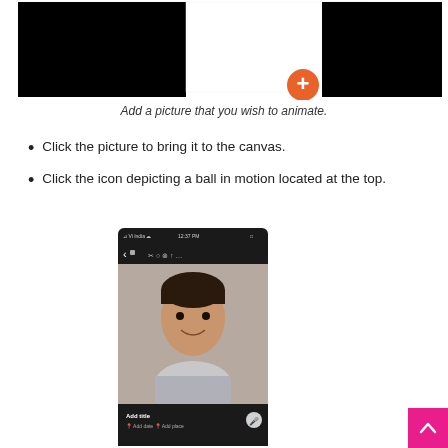[Figure (screenshot): Mobile app screenshot showing a photo upload interface with two black panels and an orange plus button in the center]
Add a picture that you wish to animate.
Click the picture to bring it to the canvas.
Click the icon depicting a ball in motion located at the top.
[Figure (screenshot): Mobile phone screenshot showing a photo editing app with a young man's portrait photo and toolbar icons at top with a red arrow pointing upward to the ball-in-motion icon]